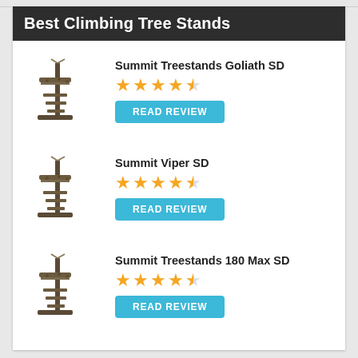Best Climbing Tree Stands
Summit Treestands Goliath SD — 4.5 stars — READ REVIEW
Summit Viper SD — 4.5 stars — READ REVIEW
Summit Treestands 180 Max SD — 4.5 stars — READ REVIEW